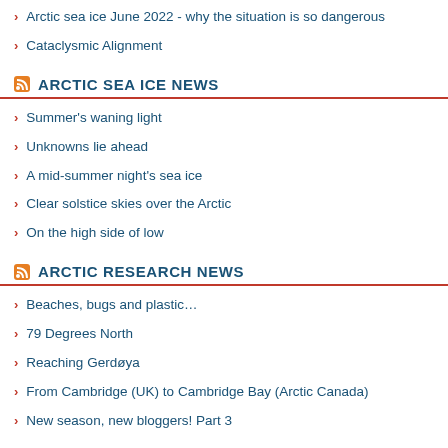Arctic sea ice June 2022 - why the situation is so dangerous
Cataclysmic Alignment
ARCTIC SEA ICE NEWS
Summer's waning light
Unknowns lie ahead
A mid-summer night's sea ice
Clear solstice skies over the Arctic
On the high side of low
ARCTIC RESEARCH NEWS
Beaches, bugs and plastic…
79 Degrees North
Reaching Gerdøya
From Cambridge (UK) to Cambridge Bay (Arctic Canada)
New season, new bloggers! Part 3